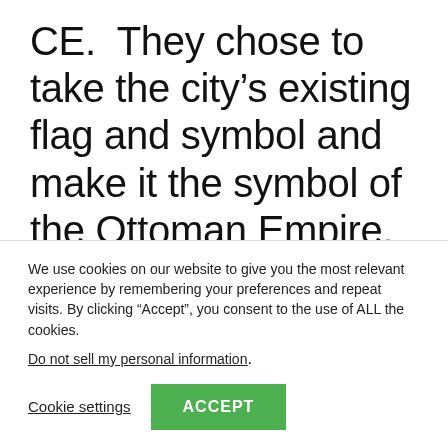CE.  They chose to take the city's existing flag and symbol and make it the symbol of the Ottoman Empire.  Since that time the crescent has been adopted by many predominantly Muslim countries and wrongly become
We use cookies on our website to give you the most relevant experience by remembering your preferences and repeat visits. By clicking “Accept”, you consent to the use of ALL the cookies.
Do not sell my personal information.
Cookie settings
ACCEPT